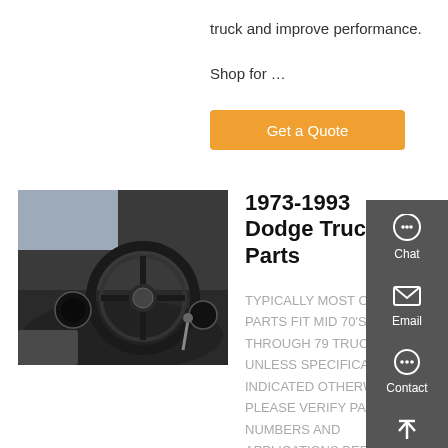truck and improve performance. Shop for …
[Figure (other): Orange 'Get a Quote' button]
[Figure (photo): Interior view of a Dodge truck showing steering wheel and dashboard]
1973-1993 Dodge Truck Parts
TYPICALLY MOST OF OUR PARTS FIT MID 70'S THROUGH 79 TRUCKS UNLESS SPECIFICALLY INDICATED OTHERWISE. PLEASE VERIFY PART NUMBERS AND APPLICATIONS BEFORE ORDERING IF YOU ARE
[Figure (infographic): Side panel with Chat, Email, Contact, and Top navigation buttons on dark grey background]